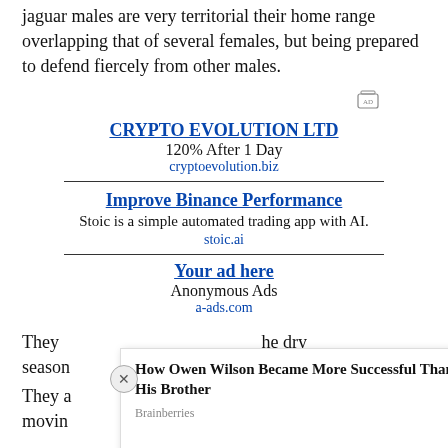jaguar males are very territorial their home range overlapping that of several females, but being prepared to defend fiercely from other males.
[Figure (other): Advertisement: CRYPTO EVOLUTION LTD - 120% After 1 Day - cryptoevolution.biz]
[Figure (other): Advertisement: Improve Binance Performance - Stoic is a simple automated trading app with AI. - stoic.ai]
[Figure (other): Advertisement: Your ad here - Anonymous Ads - a-ads.com]
They ... he dry season...
They a... n movin... g their
[Figure (other): Popup overlay: How Owen Wilson Became More Successful Than His Brother - Brainberries / PurpleAds]